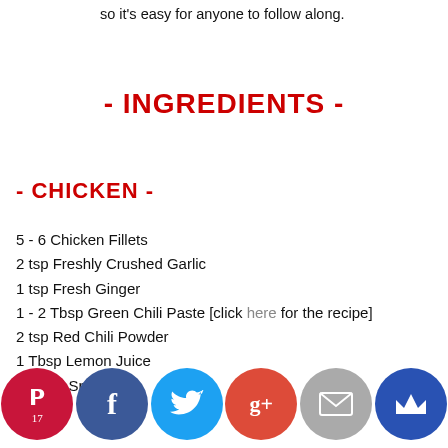so it's easy for anyone to follow along.
- INGREDIENTS -
- CHICKEN -
5 - 6 Chicken Fillets
2 tsp Freshly Crushed Garlic
1 tsp Fresh Ginger
1 - 2 Tbsp Green Chili Paste [click here for the recipe]
2 tsp Red Chili Powder
1 Tbsp Lemon Juice
… Chili Spice
Salt